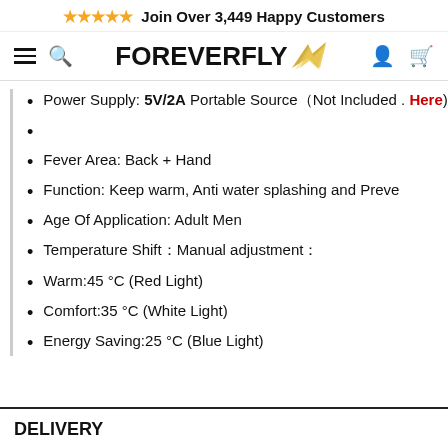★★★★★ Join Over 3,449 Happy Customers
[Figure (logo): ForeverFly brand logo with stylized golden wings, hamburger menu, search, user and cart icons in navigation bar]
Power Supply: 5V/2A Portable Source（Not Included . Here)
Fever Area: Back + Hand
Function: Keep warm, Anti water splashing and Preve
Age Of Application: Adult Men
Temperature Shift：Manual adjustment：
Warm:45 °C (Red Light)
Comfort:35 °C (White Light)
Energy Saving:25 °C (Blue Light)
DELIVERY